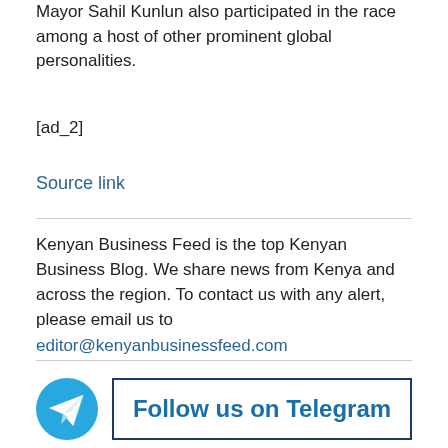Mayor Sahil Kunlun also participated in the race among a host of other prominent global personalities.
[ad_2]
Source link
Kenyan Business Feed is the top Kenyan Business Blog. We share news from Kenya and across the region. To contact us with any alert, please email us to editor@kenyanbusinessfeed.com
[Figure (logo): Telegram icon circle with paper plane, and a bordered button reading 'Follow us on Telegram']